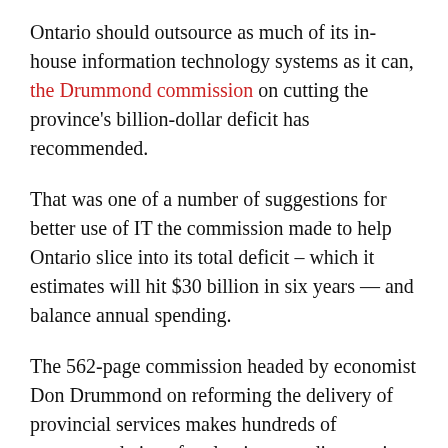Ontario should outsource as much of its in-house information technology systems as it can, the Drummond commission on cutting the province's billion-dollar deficit has recommended.
That was one of a number of suggestions for better use of IT the commission made to help Ontario slice into its total deficit – which it estimates will hit $30 billion in six years — and balance annual spending.
The 562-page commission headed by economist Don Drummond on reforming the delivery of provincial services makes hundreds of recommendations for slowing spending, urging the government to ask whether many programs are necessary.
It focuses largely on the two big spending departments, health and education. But IT is also